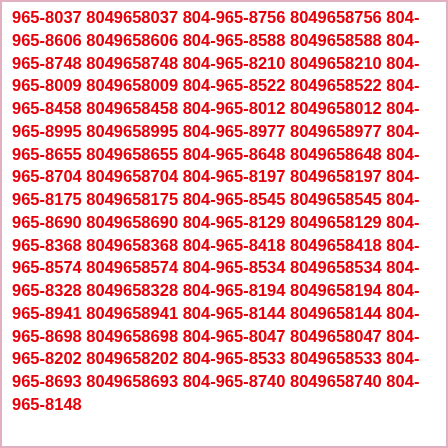965-8037 8049658037 804-965-8756 8049658756 804-965-8606 8049658606 804-965-8588 8049658588 804-965-8748 8049658748 804-965-8210 8049658210 804-965-8009 8049658009 804-965-8522 8049658522 804-965-8458 8049658458 804-965-8012 8049658012 804-965-8995 8049658995 804-965-8977 8049658977 804-965-8655 8049658655 804-965-8648 8049658648 804-965-8704 8049658704 804-965-8197 8049658197 804-965-8175 8049658175 804-965-8545 8049658545 804-965-8690 8049658690 804-965-8129 8049658129 804-965-8368 8049658368 804-965-8418 8049658418 804-965-8574 8049658574 804-965-8534 8049658534 804-965-8328 8049658328 804-965-8194 8049658194 804-965-8941 8049658941 804-965-8144 8049658144 804-965-8698 8049658698 804-965-8047 8049658047 804-965-8202 8049658202 804-965-8533 8049658533 804-965-8693 8049658693 804-965-8740 8049658740 804-965-8148